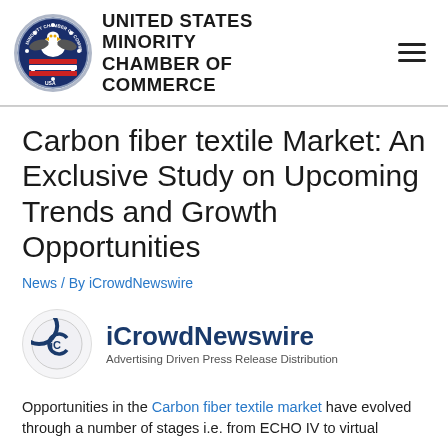[Figure (logo): United States Minority Chamber of Commerce logo with eagle and circular seal, alongside bold text 'UNITED STATES MINORITY CHAMBER OF COMMERCE']
Carbon fiber textile Market: An Exclusive Study on Upcoming Trends and Growth Opportunities
News / By iCrowdNewswire
[Figure (logo): iCrowdNewswire logo: circular icon with 'iC' inside, text 'iCrowdNewswire' and tagline 'Advertising Driven Press Release Distribution']
Opportunities in the Carbon fiber textile market have evolved through a number of stages i.e. from ECHO IV to virtual